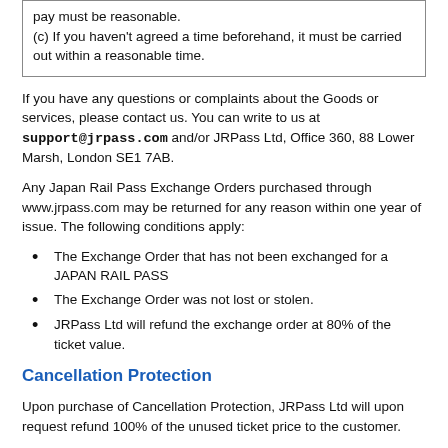pay must be reasonable.
(c) If you haven't agreed a time beforehand, it must be carried out within a reasonable time.
If you have any questions or complaints about the Goods or services, please contact us. You can write to us at support@jrpass.com and/or JRPass Ltd, Office 360, 88 Lower Marsh, London SE1 7AB.
Any Japan Rail Pass Exchange Orders purchased through www.jrpass.com may be returned for any reason within one year of issue. The following conditions apply:
The Exchange Order that has not been exchanged for a JAPAN RAIL PASS
The Exchange Order was not lost or stolen.
JRPass Ltd will refund the exchange order at 80% of the ticket value.
Cancellation Protection
Upon purchase of Cancellation Protection, JRPass Ltd will upon request refund 100% of the unused ticket price to the customer.